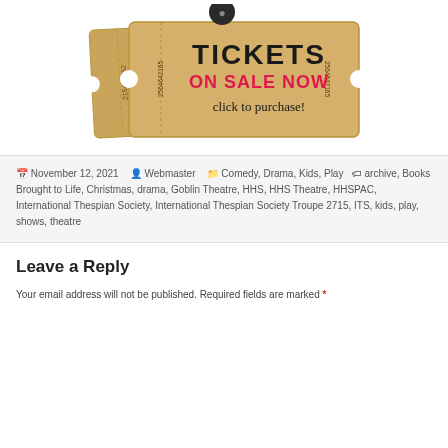[Figure (illustration): Two overlapping raffle/admission tickets. The front ticket is tan/gold colored with text 'TICKETS ON SALE NOW click to purchase!' where 'ON SALE NOW' is in pink/red. Serial number '2564642165' appears on both sides vertically. A stub on the left shows '215468352' vertically. A dark circular element (key/image) appears at the top.]
November 12, 2021   Webmaster   Comedy, Drama, Kids, Play   archive, Books Brought to Life, Christmas, drama, Goblin Theatre, HHS, HHS Theatre, HHSPAC, International Thespian Society, International Thespian Society Troupe 2715, ITS, kids, play, shows, theatre
Leave a Reply
Your email address will not be published. Required fields are marked *